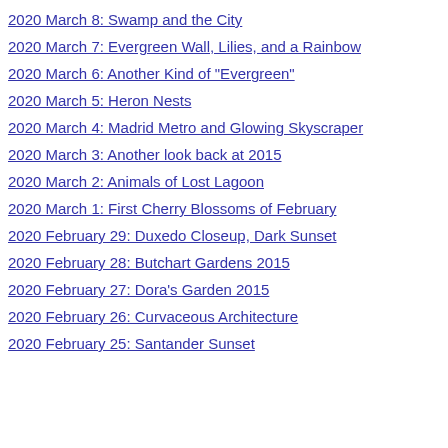2020 March 8: Swamp and the City
2020 March 7: Evergreen Wall, Lilies, and a Rainbow
2020 March 6: Another Kind of "Evergreen"
2020 March 5: Heron Nests
2020 March 4: Madrid Metro and Glowing Skyscraper
2020 March 3: Another look back at 2015
2020 March 2: Animals of Lost Lagoon
2020 March 1: First Cherry Blossoms of February
2020 February 29: Duxedo Closeup, Dark Sunset
2020 February 28: Butchart Gardens 2015
2020 February 27: Dora's Garden 2015
2020 February 26: Curvaceous Architecture
2020 February 25: Santander Sunset